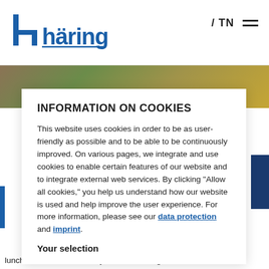häring / TN
INFORMATION ON COOKIES
This website uses cookies in order to be as user-friendly as possible and to be able to be continuously improved. On various pages, we integrate and use cookies to enable certain features of our website and to integrate external web services. By clicking "Allow all cookies," you help us understand how our website is used and help improve the user experience. For more information, please see our data protection and imprint.
Your selection
lunch or dinner into a family meal or invite guests. Retirees